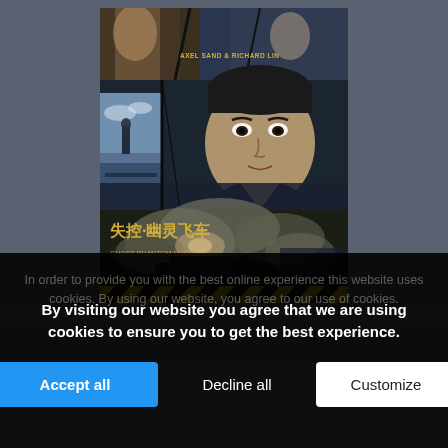[Figure (photo): A movie poster for a Chinese action film showing actors 'Axel Sand & Richard Lin' with dramatic action scenes, a close-up of a young male actor, a female character at top, and Chinese title text '失控·幽灵飞车' with explosion and car chase imagery. Yellow-black chevron stripe at bottom of poster.]
In order to provide you with the best online experience this website uses cookies. By using our website, you agree to our use of cookies.
By visiting our website you agree that we are using cookies to ensure you to get the best experience.